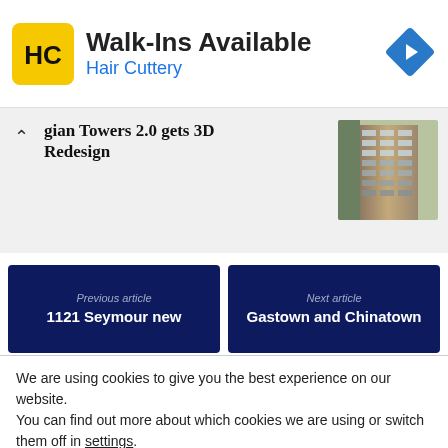[Figure (infographic): Hair Cuttery advertisement banner with yellow/black HC logo, text 'Walk-Ins Available' and 'Hair Cuttery', and a blue navigation diamond icon on the right]
gian Towers 2.0 gets 3D Redesign
[Figure (photo): Photo of a modern high-rise building with geometric facade and balconies]
Previous article
1121 Seymour new
Next article
Gastown and Chinatown
We are using cookies to give you the best experience on our website.
You can find out more about which cookies we are using or switch them off in settings.
Accept